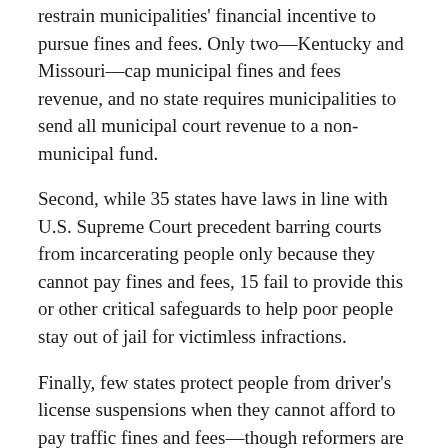restrain municipalities' financial incentive to pursue fines and fees. Only two—Kentucky and Missouri—cap municipal fines and fees revenue, and no state requires municipalities to send all municipal court revenue to a non-municipal fund.
Second, while 35 states have laws in line with U.S. Supreme Court precedent barring courts from incarcerating people only because they cannot pay fines and fees, 15 fail to provide this or other critical safeguards to help poor people stay out of jail for victimless infractions.
Finally, few states protect people from driver's license suspensions when they cannot afford to pay traffic fines and fees—though reformers are starting to persuade legislatures to abandon this harsh means of trying to compel payment.